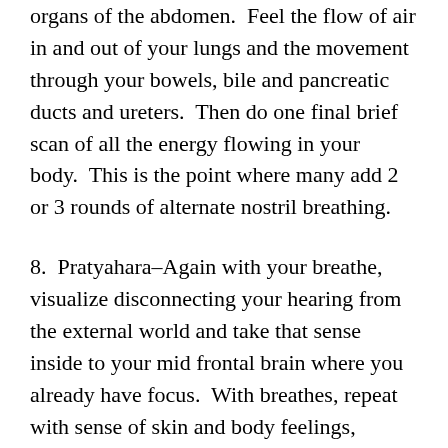organs of the abdomen.  Feel the flow of air in and out of your lungs and the movement through your bowels, bile and pancreatic ducts and ureters.  Then do one final brief scan of all the energy flowing in your body.  This is the point where many add 2 or 3 rounds of alternate nostril breathing.
8.  Pratyahara–Again with your breathe, visualize disconnecting your hearing from the external world and take that sense inside to your mid frontal brain where you already have focus.  With breathes, repeat with sense of skin and body feelings, eyesight, taste, and smell